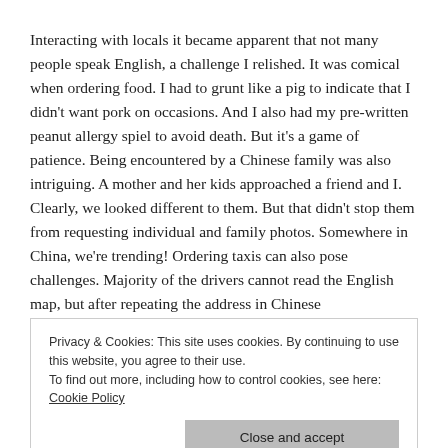Interacting with locals it became apparent that not many people speak English, a challenge I relished. It was comical when ordering food. I had to grunt like a pig to indicate that I didn't want pork on occasions. And I also had my pre-written peanut allergy spiel to avoid death. But it's a game of patience. Being encountered by a Chinese family was also intriguing. A mother and her kids approached a friend and I. Clearly, we looked different to them. But that didn't stop them from requesting individual and family photos. Somewhere in China, we're trending! Ordering taxis can also pose challenges. Majority of the drivers cannot read the English map, but after repeating the address in Chinese
Privacy & Cookies: This site uses cookies. By continuing to use this website, you agree to their use.
To find out more, including how to control cookies, see here: Cookie Policy
interacted with a foreigner. Fast forward four hours and